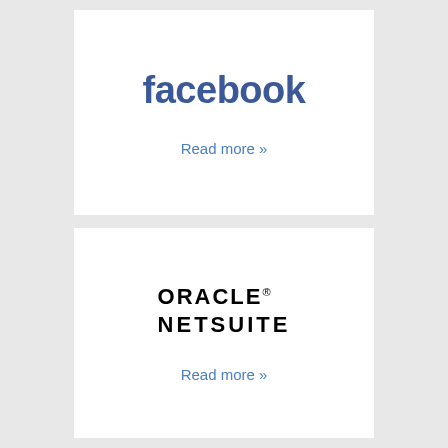[Figure (logo): Facebook logo in blue bold lowercase text]
Read more »
[Figure (logo): Oracle NetSuite logo: ORACLE® in bold caps with registered mark, NETSUITE in bold caps below]
Read more »